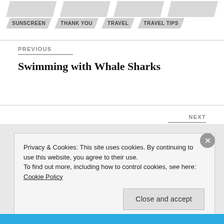SUNSCREEN
THANK YOU
TRAVEL
TRAVEL TIPS
PREVIOUS
Swimming with Whale Sharks
NEXT
Bustling Boracay
Privacy & Cookies: This site uses cookies. By continuing to use this website, you agree to their use.
To find out more, including how to control cookies, see here: Cookie Policy
Close and accept